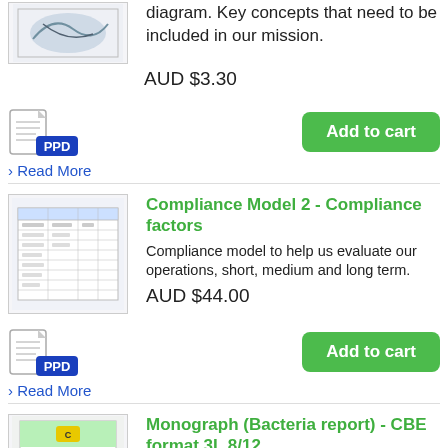[Figure (illustration): Thumbnail of a document/diagram (partial, top of page)]
diagram. Key concepts that need to be included in our mission.
AUD $3.30
[Figure (logo): PPD document icon]
Add to cart
› Read More
[Figure (illustration): Thumbnail of a compliance table/spreadsheet document]
Compliance Model 2 - Compliance factors
Compliance model to help us evaluate our operations, short, medium and long term.
AUD $44.00
[Figure (logo): PPD document icon]
Add to cart
› Read More
[Figure (illustration): Thumbnail of a monograph/bacteria report document with green header]
Monograph (Bacteria report) - CBE format 3L 8/12
CBE style guide on bacteria monograph including acronyms, names and addresses of major culture collections in the glossary of terms and index. Also includes formatted